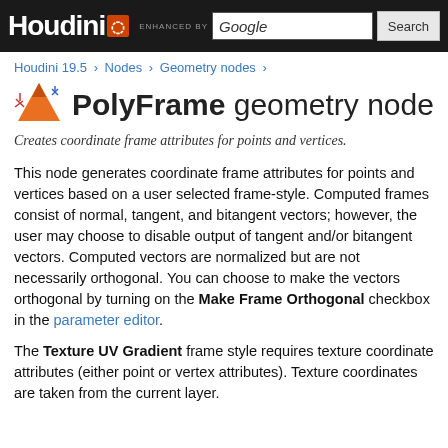Houdini | ENHANCED BY Google | Search
Houdini 19.5 > Nodes > Geometry nodes >
PolyFrame geometry node
Creates coordinate frame attributes for points and vertices.
This node generates coordinate frame attributes for points and vertices based on a user selected frame-style. Computed frames consist of normal, tangent, and bitangent vectors; however, the user may choose to disable output of tangent and/or bitangent vectors. Computed vectors are normalized but are not necessarily orthogonal. You can choose to make the vectors orthogonal by turning on the Make Frame Orthogonal checkbox in the parameter editor.
The Texture UV Gradient frame style requires texture coordinate attributes (either point or vertex attributes). Texture coordinates are taken from the current layer.